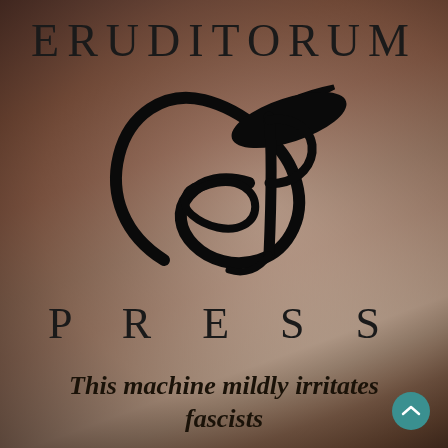[Figure (logo): Eruditorum Press logo: stylized EP monogram in black cursive/calligraphic style with swooping curves, on a muted warm-toned abstract background suggesting a landscape]
ERUDITORUM
PRESS
This machine mildly irritates fascists